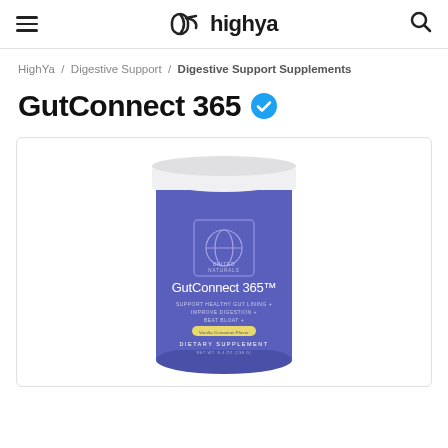highya
HighYa / Digestive Support / Digestive Support Supplements
GutConnect 365
[Figure (photo): A cylindrical supplement container with a white lid and blue label. The label reads: UNITED NATURALS, GutConnect 365™, SUPPORT HEALTHY GUT LINING + IMPROVE DIGESTION + BEAT BLOAT +, Vanilla Cinnamon Flavor, DIETARY SUPPLEMENT, NET WT. 8.4 OZ (238 G)]